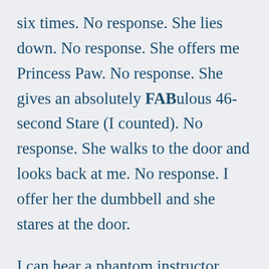six times. No response. She lies down. No response. She offers me Princess Paw. No response. She gives an absolutely FABulous 46-second Stare (I counted). No response. She walks to the door and looks back at me. No response. I offer her the dumbbell and she stares at the door.
I can hear a phantom instructor yelling “Don’t let her get away with